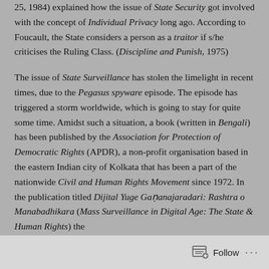25, 1984) explained how the issue of State Security got involved with the concept of Individual Privacy long ago. According to Foucault, the State considers a person as a traitor if s/he criticises the Ruling Class. (Discipline and Punish, 1975)
The issue of State Surveillance has stolen the limelight in recent times, due to the Pegasus spyware episode. The episode has triggered a storm worldwide, which is going to stay for quite some time. Amidst such a situation, a book (written in Bengali) has been published by the Association for Protection of Democratic Rights (APDR), a non-profit organisation based in the eastern Indian city of Kolkata that has been a part of the nationwide Civil and Human Rights Movement since 1972. In the publication titled Dijital Yuge Gaṇanajaradari: Rashtra o Manabadhikara (Mass Surveillance in Digital Age: The State & Human Rights) the
Follow ···